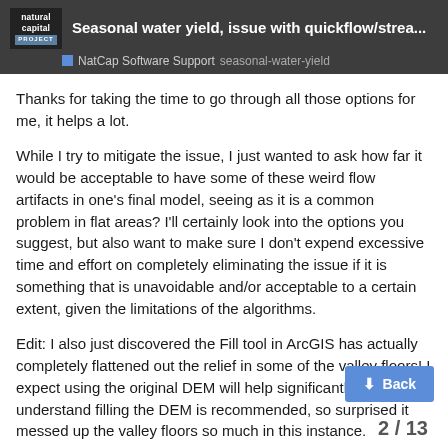Seasonal water yield, issue with quickflow/strea... | NatCap Software Support | seasonal-water-yield
Thanks for taking the time to go through all those options for me, it helps a lot.
While I try to mitigate the issue, I just wanted to ask how far it would be acceptable to have some of these weird flow artifacts in one's final model, seeing as it is a common problem in flat areas? I'll certainly look into the options you suggest, but also want to make sure I don't expend excessive time and effort on completely eliminating the issue if it is something that is unavoidable and/or acceptable to a certain extent, given the limitations of the algorithms.
Edit: I also just discovered the Fill tool in ArcGIS has actually completely flattened out the relief in some of the valley floors! I expect using the original DEM will help significantly. I understand filling the DEM is recommended, so surprised it messed up the valley floors so much in this instance.
2 / 13